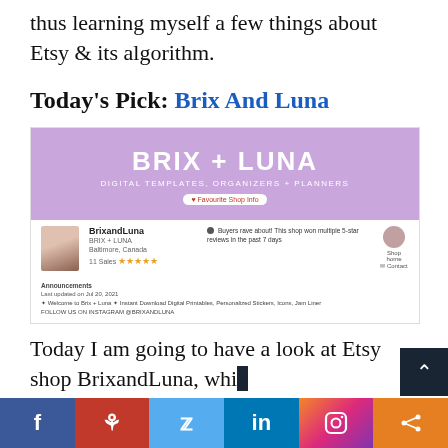thus learning myself a few things about Etsy & its algorithm.
Today's Pick: Brix And Luna
[Figure (screenshot): Screenshot of the BrixandLuna Etsy shop page showing a purple banner with 'BRIX + LUNA DIGITAL TEMPLATES, ORGANIZERS + PLANNERS', shop profile info, star ratings, and announcement text.]
Today I am going to have a look at Etsy shop BrixandLuna, whi…